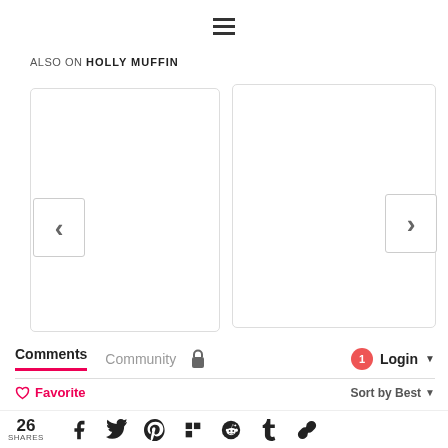[Figure (other): Hamburger menu icon (three horizontal lines)]
ALSO ON HOLLY MUFFIN
[Figure (other): Left card panel with left navigation chevron]
[Figure (other): Right card panel with right navigation chevron]
Comments  Community  [lock icon]  [1 notification]  Login ▾
♡ Favorite  Sort by Best ▾
26 SHARES [Facebook] [Twitter] [Pinterest] [Flipboard] [Reddit] [Tumblr] [Link]